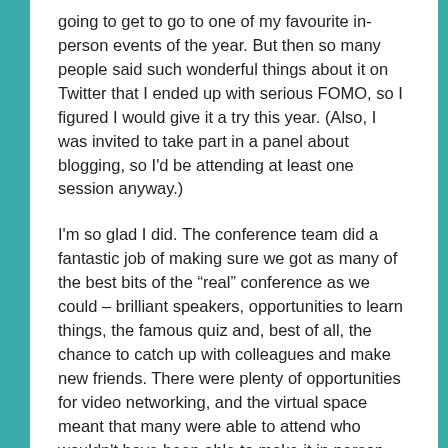going to get to go to one of my favourite in-person events of the year. But then so many people said such wonderful things about it on Twitter that I ended up with serious FOMO, so I figured I would give it a try this year. (Also, I was invited to take part in a panel about blogging, so I'd be attending at least one session anyway.)
I'm so glad I did. The conference team did a fantastic job of making sure we got as many of the best bits of the "real" conference as we could – brilliant speakers, opportunities to learn things, the famous quiz and, best of all, the chance to catch up with colleagues and make new friends. There were plenty of opportunities for video networking, and the virtual space meant that many were able to attend who wouldn't have been able to make it in person.